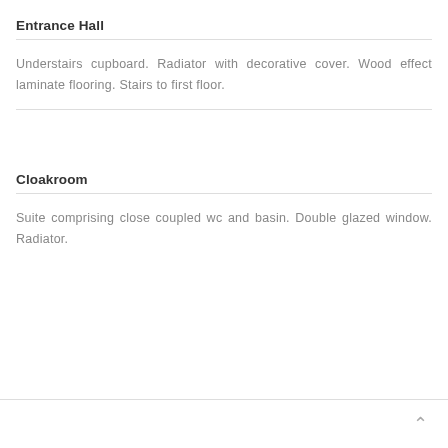Entrance Hall
Understairs cupboard. Radiator with decorative cover. Wood effect laminate flooring. Stairs to first floor.
Cloakroom
Suite comprising close coupled wc and basin. Double glazed window. Radiator.